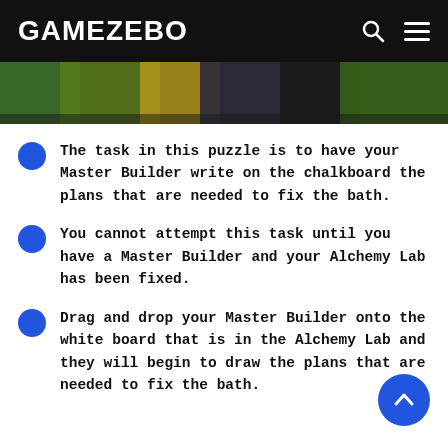GAMEZEBO
[Figure (screenshot): Banner image showing a game screenshot with green and colorful game scene]
The task in this puzzle is to have your Master Builder write on the chalkboard the plans that are needed to fix the bath.
You cannot attempt this task until you have a Master Builder and your Alchemy Lab has been fixed.
Drag and drop your Master Builder onto the white board that is in the Alchemy Lab and they will begin to draw the plans that are needed to fix the bath.